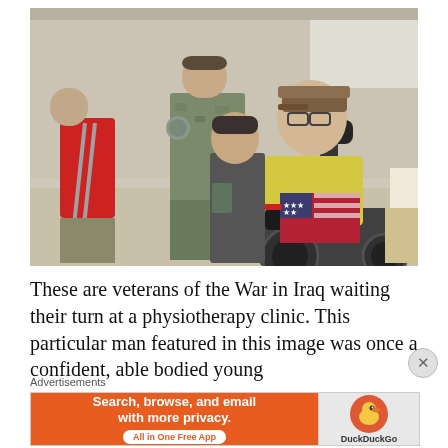[Figure (photo): A photograph showing several veterans of the War in Iraq seated in a row at a physiotherapy clinic. One man in a wheelchair in the foreground wears a yellow shirt and gloves, holding an American flag blanket. A soldier in military camouflage uniform stands behind. Another man on crutches is visible to the left wearing a red shirt. The setting is an indoor medical facility.]
These are veterans of the War in Iraq waiting their turn at a physiotherapy clinic. This particular man featured in this image was once a confident, able bodied young
Advertisements
[Figure (other): DuckDuckGo advertisement banner with orange background. Text reads: Search, browse, and email with more privacy. All in One Free App. DuckDuckGo logo on the right side.]